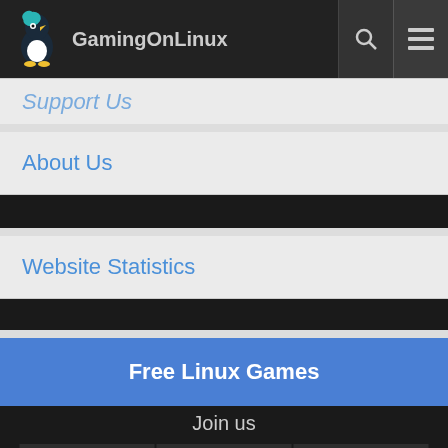GamingOnLinux
Support Us
About Us
Website Statistics
Free Linux Games
Join us
[Figure (screenshot): Social media icons grid: Twitter, Telegram, Discord, Matrix, Steam, Twitch, YouTube, Facebook, Mastodon]